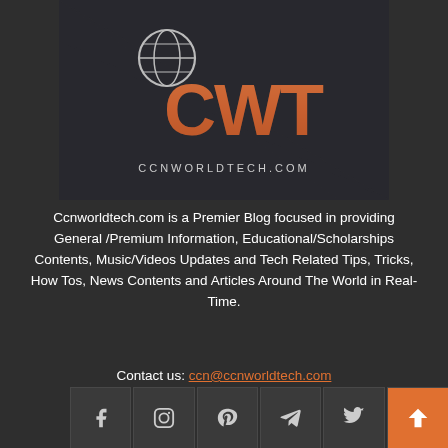[Figure (logo): CWT / ccnworldtech.com logo with copper-colored letters on dark background and globe icon]
Ccnworldtech.com is a Premier Blog focused in providing General /Premium Information, Educational/Scholarships Contents, Music/Videos Updates and Tech Related Tips, Tricks, How Tos, News Contents and Articles Around The World in Real-Time.
Contact us: ccn@ccnworldtech.com
[Figure (infographic): Social media icons row: Facebook, Instagram, Pinterest, Telegram, Twitter, YouTube, plus a back-to-top arrow button in orange]